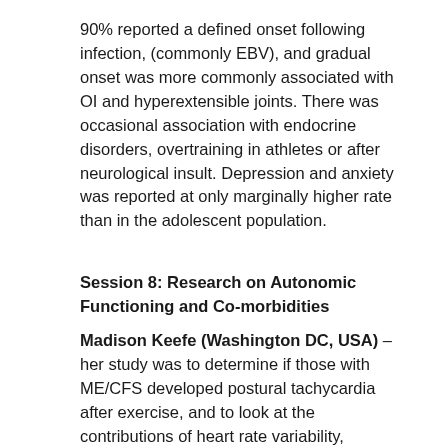90% reported a defined onset following infection, (commonly EBV), and gradual onset was more commonly associated with OI and hyperextensible joints. There was occasional association with endocrine disorders, overtraining in athletes or after neurological insult. Depression and anxiety was reported at only marginally higher rate than in the adolescent population.
Session 8: Research on Autonomic Functioning and Co-morbidities
Madison Keefe (Washington DC, USA) – her study was to determine if those with ME/CFS developed postural tachycardia after exercise, and to look at the contributions of heart rate variability, sympathetic and parasympathetic dysfunction. 2 groups were studied: